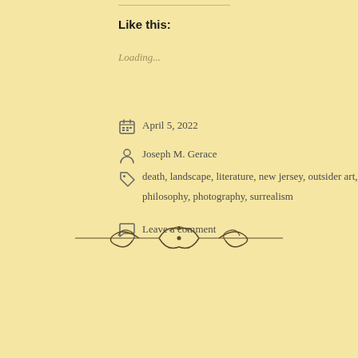Like this:
Loading...
April 5, 2022
Joseph M. Gerace
death, landscape, literature, new jersey, outsider art, philosophy, photography, surrealism
Leave a comment
[Figure (illustration): Decorative ornamental divider with scrollwork and bow/flourish design]